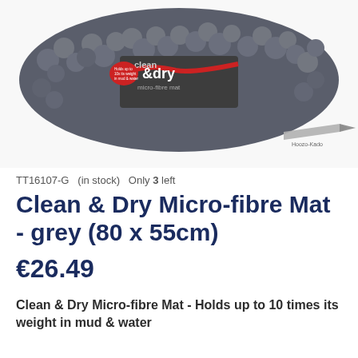[Figure (photo): Grey microfibre mat product photo showing a dark grey fluffy mat with 'clean & dry micro-fibre mat' branding label visible on the packaging, with a Hoozo-Kado logo/watermark in the lower right area of the image]
TT16107-G  (in stock)  Only 3 left
Clean & Dry Micro-fibre Mat - grey (80 x 55cm)
€26.49
Clean & Dry Micro-fibre Mat - Holds up to 10 times its weight in mud & water